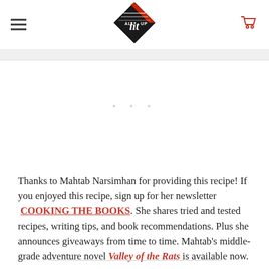All Lit Up — navigation header with logo, hamburger menu, and cart icon
* * *
Thanks to Mahtab Narsimhan for providing this recipe! If you enjoyed this recipe, sign up for her newsletter COOKING THE BOOKS. She shares tried and tested recipes, writing tips, and book recommendations. Plus she announces giveaways from time to time. Mahtab's middle-grade adventure novel Valley of the Rats is available now.